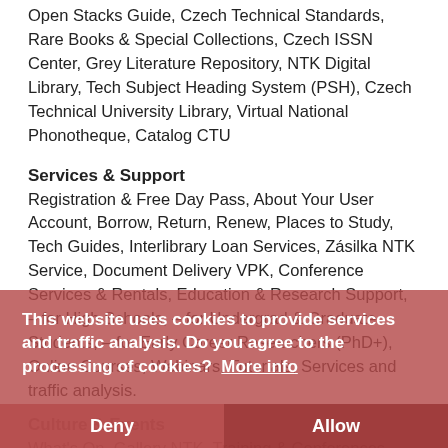Open Stacks Guide, Czech Technical Standards, Rare Books & Special Collections, Czech ISSN Center, Grey Literature Repository, NTK Digital Library, Tech Subject Heading System (PSH), Czech Technical University Library, Virtual National Phonotheque, Catalog CTU
Services & Support
Registration & Free Day Pass, About Your User Account, Borrow, Return, Renew, Places to Study, Tech Guides, Interlibrary Loan Services, Zásilka NTK Service, Document Delivery VPK, Conference Services & Rentals, Education & Research Support, – for High Schools, – for Undergrad & Graduate Students, – for Early Career Researchers (PhD+), Online Courses, Webinars, Tutorials, Services and traffic analysis.
Culture & Events
What's On, Gallery NTK, Training & Conferences, Guided Tours
Who We Are
Opening Hours, About NTK, Library Regulations, The Building,
This website uses cookies to provide services and traffic analysis. Do you agree to the processing of cookies? More info